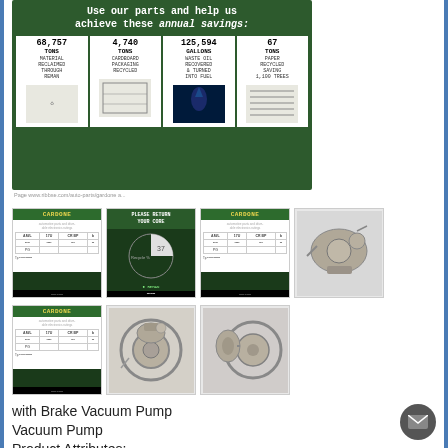[Figure (infographic): Green infographic: 'Use our parts and help us achieve these annual savings:' with 4 stat boxes: 68,757 TONS Material Reclaimed Through Reman; 4,740 TONS Cardboard Packaging Recycled; 125,594 GALLONS Waste Oil Recovered & Turned Into Fuel; 67 TONS Paper Recycled Saving 1,100 Trees]
Page www.ribbse.com/auto-parts/gardone a...
[Figure (screenshot): Cardone product catalog thumbnail with green header and data table]
[Figure (screenshot): Please Return Your Core green infographic thumbnail with pie chart]
[Figure (screenshot): Cardone product catalog thumbnail with green header and data table]
[Figure (photo): Photo of a vacuum pump mechanical component]
[Figure (screenshot): Cardone product catalog thumbnail with green header and data table]
[Figure (photo): Photo of a brake vacuum pump with pulley]
[Figure (photo): Photo of a vacuum pump side view]
with Brake Vacuum Pump
Vacuum Pump
Product Attributes: